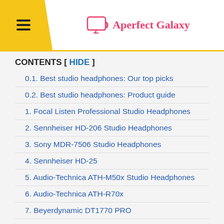Aperfect Galaxy
CONTENTS [ HIDE ]
0.1. Best studio headphones: Our top picks
0.2. Best studio headphones: Product guide
1. Focal Listen Professional Studio Headphones
2. Sennheiser HD-206 Studio Headphones
3. Sony MDR-7506 Studio Headphones
4. Sennheiser HD-25
5. Audio-Technica ATH-M50x Studio Headphones
6. Audio-Technica ATH-R70x
7. Beyerdynamic DT1770 PRO
8. Austrian Audio Hi-X65
9. Shure SRH1540
10. Beyerdynamic DT-770 PRO